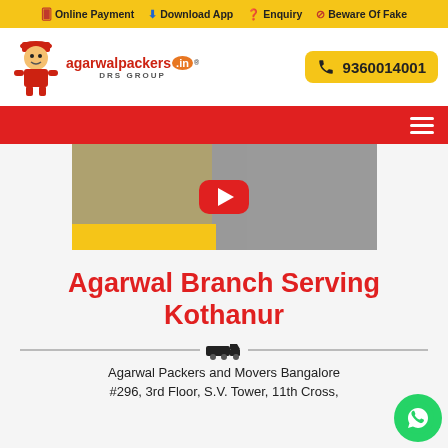Online Payment | Download App | Enquiry | Beware Of Fake
[Figure (logo): Agarwal Packers logo with mascot character wearing red hat and uniform, text 'agarwalpackers.in DRS GROUP']
9360014001
[Figure (screenshot): Red navigation bar with hamburger menu icon]
[Figure (screenshot): Video thumbnail showing movers and packers footage with red play button]
Agarwal Branch Serving Kothanur
Agarwal Packers and Movers Bangalore #296, 3rd Floor, S.V. Tower, 11th Cross,